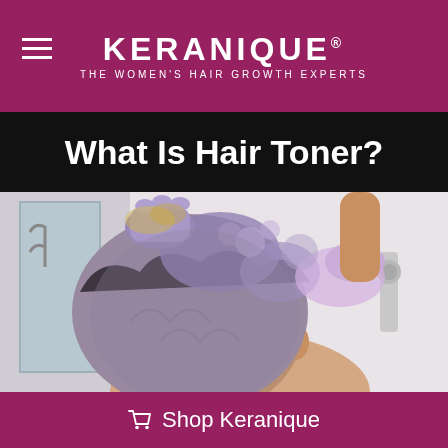KERANIQUE® — THE WOMEN'S HAIR GROWTH EXPERTS
What Is Hair Toner?
[Figure (photo): Woman in shower with gloved hands applying purple/violet hair toner to her curly hair, viewed from behind. Bathroom setting visible in background.]
Shop Keranique